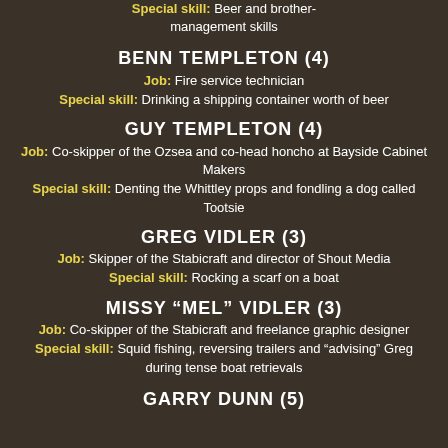Special skill: Beer and brother-management skills
BENN TEMPLETON (4)
Job: Fire service technician
Special skill: Drinking a shipping container worth of beer
GUY TEMPLETON (4)
Job: Co-skipper of the Ozsea and co-head honcho at Bayside Cabinet Makers
Special skill: Denting the Whittley props and fondling a dog called Tootsie
GREG VIDLER (3)
Job: Skipper of the Stabicraft and director of Shout Media
Special skill: Rocking a scarf on a boat
MISSY “MEL” VIDLER (3)
Job: Co-skipper of the Stabicraft and freelance graphic designer
Special skill: Squid fishing, reversing trailers and “advising” Greg during tense boat retrievals
GARRY DUNN (5)